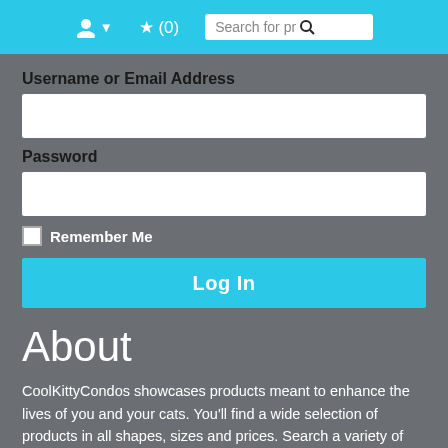User icon  ★ (0)  Search for pro...
Username or Email Address
Password
Remember Me
Log In
About
CoolKittyCondos showcases products meant to enhance the lives of you and your cats. You'll find a wide selection of products in all shapes, sizes and prices. Search a variety of designs, colors and themes that will suit your tastes and needs. Enjoy your stay and feel free to contact us with any questions you might have.